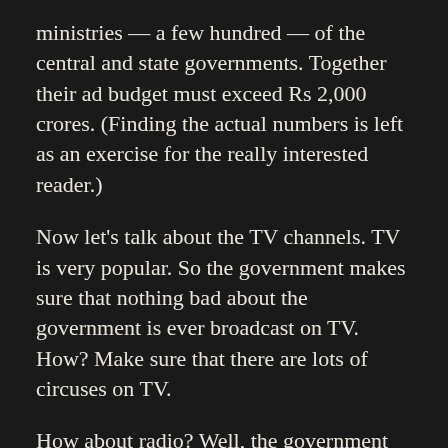ministries — a few hundred — of the central and state governments. Together their ad budget must exceed Rs 2,000 crores. (Finding the actual numbers is left as an exercise for the really interested reader.)
Now let's talk about the TV channels. TV is very popular. So the government makes sure that nothing bad about the government is ever broadcast on TV. How? Make sure that there are lots of circuses on TV.
How about radio? Well, the government only allows idiot DJ to talk on commercial FM. It does not allow current affairs and news. The government controls the radio that is heard